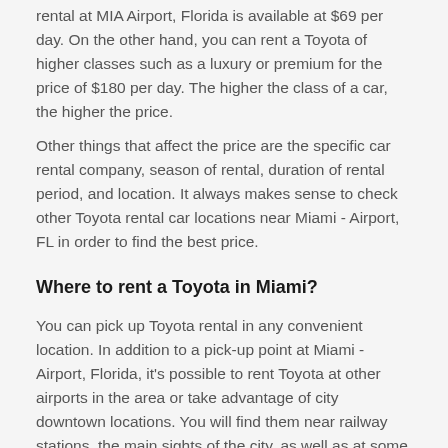rental at MIA Airport, Florida is available at $69 per day. On the other hand, you can rent a Toyota of higher classes such as a luxury or premium for the price of $180 per day. The higher the class of a car, the higher the price. Other things that affect the price are the specific car rental company, season of rental, duration of rental period, and location. It always makes sense to check other Toyota rental car locations near Miami - Airport, FL in order to find the best price.
Where to rent a Toyota in Miami?
You can pick up Toyota rental in any convenient location. In addition to a pick-up point at Miami - Airport, Florida, it's possible to rent Toyota at other airports in the area or take advantage of city downtown locations. You will find them near railway stations, the main sights of the city, as well as at some hotels.
Car rental locations with Toyota vehicles near Miami, FL